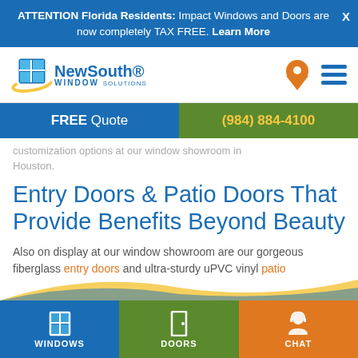ATTENTION Florida Residents: Impact Windows and Doors are now completely TAX FREE. Learn More
[Figure (logo): NewSouth Window Solutions logo with blue window grid icon and swoosh]
FREE Quote   (984) 884-4100
customization options at our window showroom in Houston.
Entry Doors & Patio Doors That Provide Benefits Beyond Beauty
Also on display at our window showroom are our gorgeous fiberglass entry doors and ultra-sturdy uPVC vinyl patio
[Figure (infographic): Bottom navigation bar with Windows, Doors, and Chat icons on blue, green, and orange sections with decorative wave overlay]